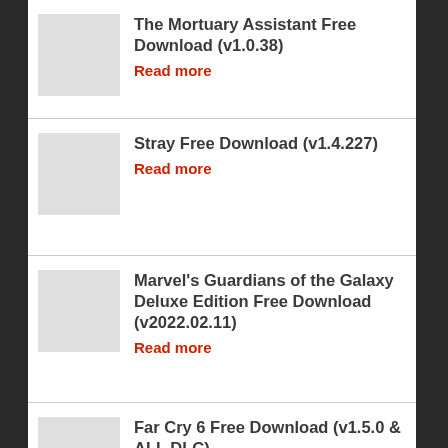The Mortuary Assistant Free Download (v1.0.38)
Read more
Stray Free Download (v1.4.227)
Read more
Marvel's Guardians of the Galaxy Deluxe Edition Free Download (v2022.02.11)
Read more
Far Cry 6 Free Download (v1.5.0 & ALL DLC)
Read more